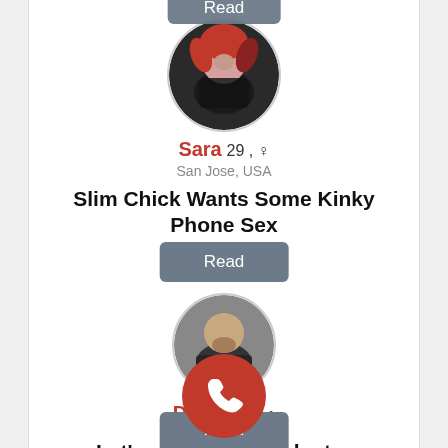[Figure (photo): Circular profile photo of Sara, a woman with red hair]
Sara 29 , ♀
San Jose, USA
Slim Chick Wants Some Kinky Phone Sex
Read
[Figure (photo): Circular profile photo of Dylan, a man with beard in black tank top]
Dylan 41 , ♂
Seattle, USA
Let's play naughty doctor
Read